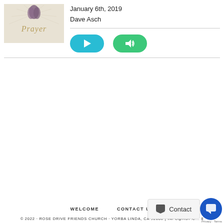[Figure (illustration): Album/sermon art showing a praying hands illustration with the word 'Prayer' in decorative gold text on a light background]
January 6th, 2019
Dave Asch
[Figure (other): Blue play button (video) and green audio button with speaker icon]
WELCOME   CONTACT US
© 2022 · ROSE DRIVE FRIENDS CHURCH · YORBA LINDA, CA 92886 | INFO@RDF.C... 8